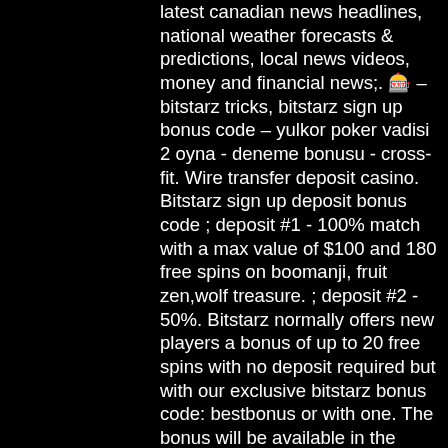latest canadian news headlines, national weather forecasts &amp; predictions, local news videos, money and financial news;. 🎰 – bitstarz tricks, bitstarz sign up bonus code – yulkor poker vadisi 2 oyna - deneme bonusu - cross-fit. Wire transfer deposit casino. Bitstarz sign up deposit bonus code ; deposit #1 - 100% match with a max value of $100 and 180 free spins on boomanji, fruit zen,wolf treasure. ; deposit #2 - 50%. Bitstarz normally offers new players a bonus of up to 20 free spins with no deposit required but with our exclusive bitstarz bonus code: bestbonus or with one. The bonus will be available in the account. A maximum of $/€5 per spin is allowed. After redeeming the bonus, the free spins will be assigned to your casino. Get the latest bonuses from bitstarz. With the codes below you can claim the desired bonus when you register a account at the casino. Free bonus code for bitstarz, bitstarz casino bono sin